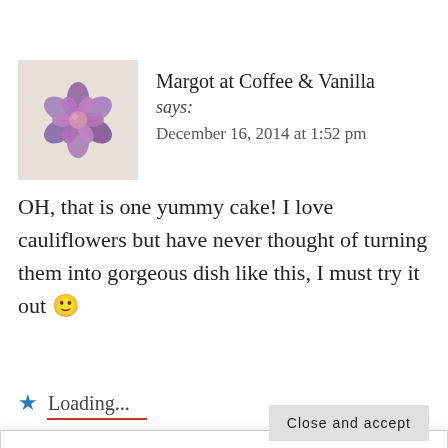[Figure (photo): Avatar image of a purple succulent flower on a beige background]
Margot at Coffee & Vanilla
says:
December 16, 2014 at 1:52 pm
OH, that is one yummy cake! I love cauliflowers but have never thought of turning them into gorgeous dish like this, I must try it out 🙂
★ Loading...
Privacy & Cookies: This site uses cookies. By continuing to use this website, you agree to their use.
To find out more, including how to control cookies, see here: Our Cookie Policy
Close and accept